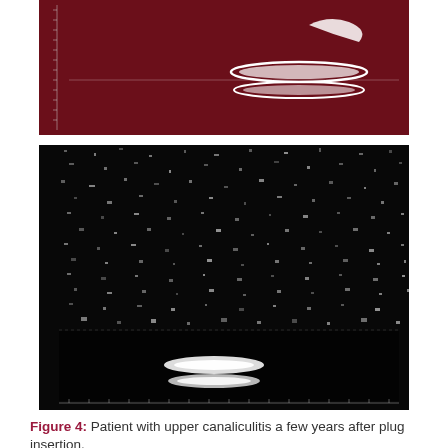[Figure (photo): Medical ultrasound or imaging scan showing a plug/device insertion in a canaliculus against a dark red background with measurement scale markings on the left side.]
[Figure (photo): Black and white ultrasound image showing upper canaliculitis with a bright hyperechoic reflective area visible in the lower portion of the image, with scale markings along the bottom.]
Figure 4: Patient with upper canaliculitis a few years after plug insertion.